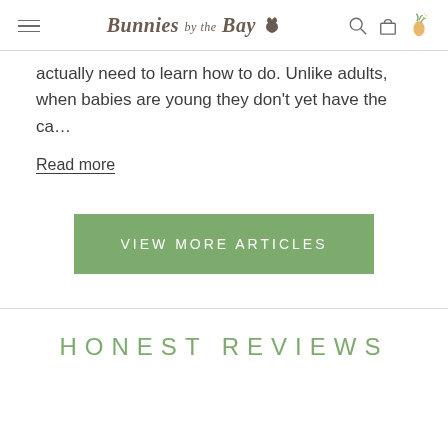Bunnies by the Bay
actually need to learn how to do. Unlike adults, when babies are young they don't yet have the ca…
Read more
VIEW MORE ARTICLES
HONEST REVIEWS